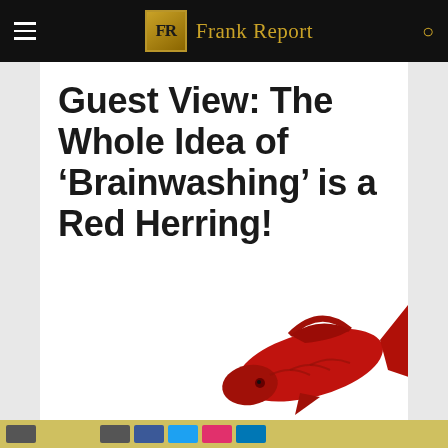FR Frank Report
Guest View: The Whole Idea of ‘Brainwashing’ is a Red Herring!
July 23, 2021
[Figure (photo): A red herring fish illustration on white background, showing the tail and body of a red-colored fish in the lower right portion of the image.]